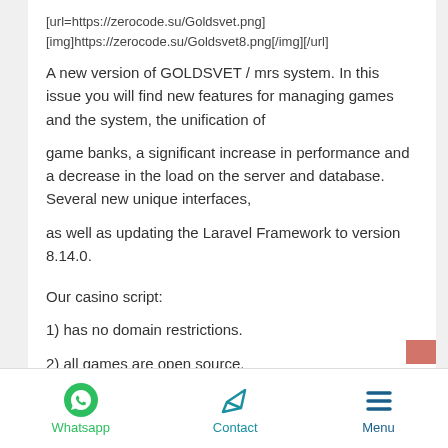[url=https://zerocode.su/Goldsvet.png]
[img]https://zerocode.su/Goldsvet8.png[/img][/url]
A new version of GOLDSVET / mrs system. In this issue you will find new features for managing games and the system, the unification of
game banks, a significant increase in performance and a decrease in the load on the server and database. Several new unique interfaces,
as well as updating the Laravel Framework to version 8.14.0.
Our casino script:
1) has no domain restrictions.
2) all games are open source.
Whatsapp   Contact   Menu